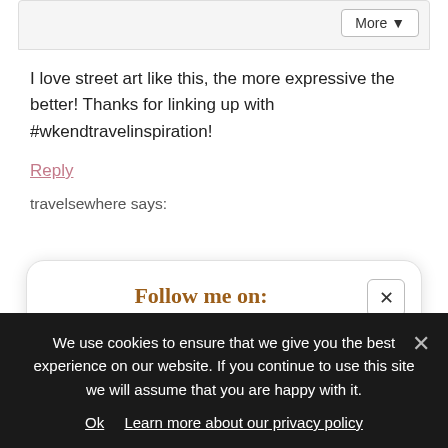I love street art like this, the more expressive the better! Thanks for linking up with #wkendtravelinspiration!
Reply
travelsewhere says:
[Figure (infographic): Follow me on: popup with social media icons (Facebook, Instagram, Pinterest, Twitter, Bloglovin, RSS) and newsletter signup text, with a close button]
We use cookies to ensure that we give you the best experience on our website. If you continue to use this site we will assume that you are happy with it.
Ok   Learn more about our privacy policy